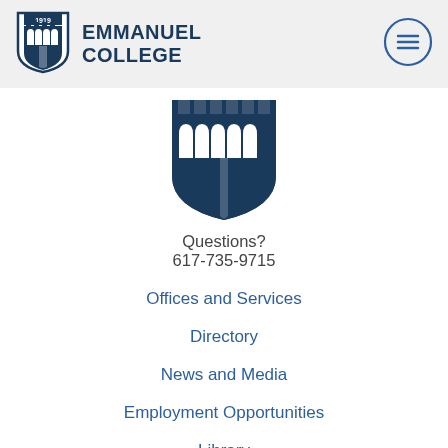[Figure (logo): Emmanuel College shield logo (small, in header) and college name text]
[Figure (logo): Emmanuel College shield logo (large, centered in body)]
Questions?
617-735-9715
Offices and Services
Directory
News and Media
Employment Opportunities
Library